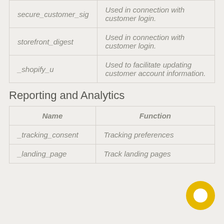| Name | Function |
| --- | --- |
| secure_customer_sig | Used in connection with customer login. |
| storefront_digest | Used in connection with customer login. |
| _shopify_u | Used to facilitate updating customer account information. |
Reporting and Analytics
| Name | Function |
| --- | --- |
| _tracking_consent | Tracking preferences |
| _landing_page | Track landing pages |